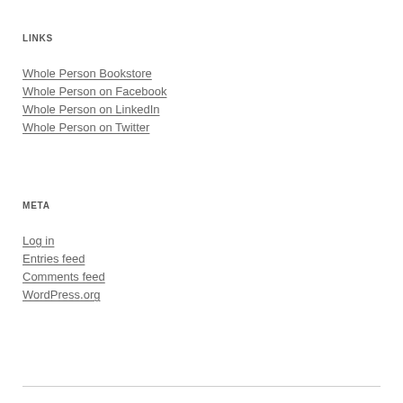LINKS
Whole Person Bookstore
Whole Person on Facebook
Whole Person on LinkedIn
Whole Person on Twitter
META
Log in
Entries feed
Comments feed
WordPress.org